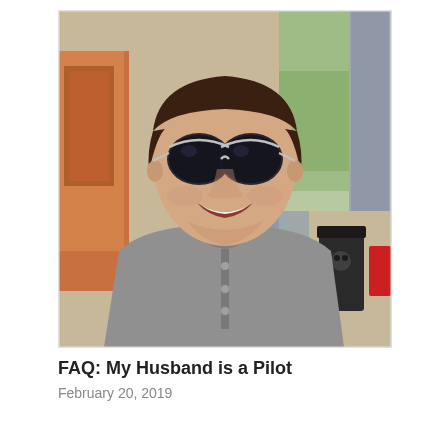[Figure (photo): A smiling man wearing aviator sunglasses and a grey henley shirt, photographed outdoors near a street or shopping area. Background shows a building with large windows, a grey pillar, and a black trash can with a red element. The photo is a close-up portrait/selfie style shot.]
FAQ: My Husband is a Pilot
February 20, 2019